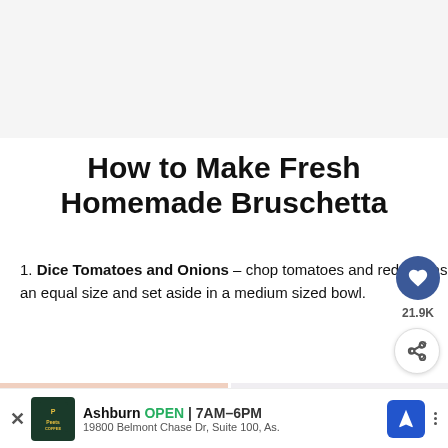[Figure (photo): Gray placeholder area at top of page, likely an image space]
How to Make Fresh Homemade Bruschetta
1. Dice Tomatoes and Onions – chop tomatoes and red onions an equal size and set aside in a medium sized bowl.
[Figure (photo): Left photo showing diced red tomatoes on a light surface]
[Figure (photo): Right photo showing diced red onions on a light surface]
[Figure (photo): What's Next overlay: Jamaican Pickled... thumbnail]
WHAT'S NEXT → Jamaican Pickled...
Ashburn OPEN | 7AM–6PM  19800 Belmont Chase Dr, Suite 100, As.